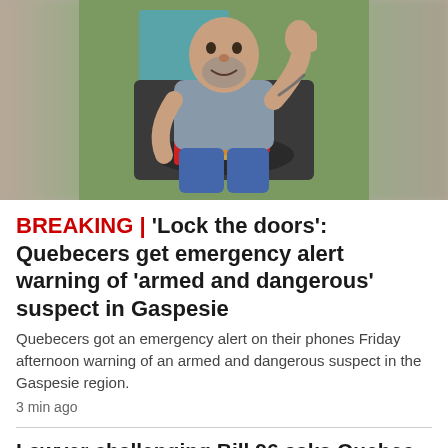[Figure (photo): A man sitting outdoors in a camp chair giving a thumbs up, with a plate of food and drinks on a table in front of him. Photo has blurred edges on left and right sides.]
BREAKING | 'Lock the doors': Quebecers get emergency alert warning of 'armed and dangerous' suspect in Gaspesie
Quebecers got an emergency alert on their phones Friday afternoon warning of an armed and dangerous suspect in the Gaspesie region.
3 min ago
Lawyer challenging Bill 96 asks Quebec to suspend language law over 'uncertainty